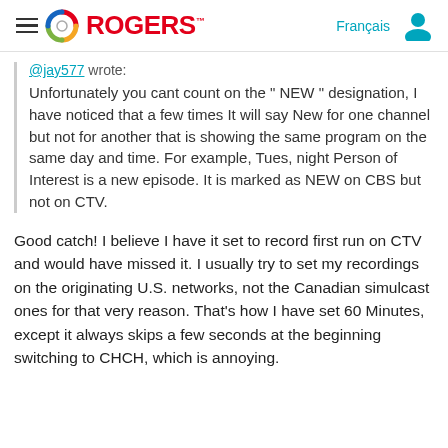Rogers (logo) | Français | User icon
@jay577 wrote:
Unfortunately you cant count on the " NEW " designation, I have noticed that a few times It will say New for one channel but not for another that is showing the same program on the same day and time. For example, Tues, night Person of Interest is a new episode. It is marked as NEW on CBS but not on CTV.
Good catch! I believe I have it set to record first run on CTV and would have missed it. I usually try to set my recordings on the originating U.S. networks, not the Canadian simulcast ones for that very reason. That's how I have set 60 Minutes, except it always skips a few seconds at the beginning switching to CHCH, which is annoying.